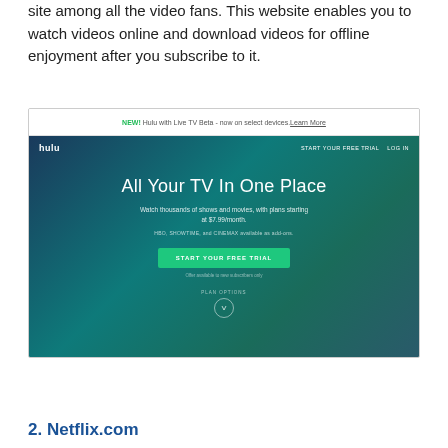site among all the video fans. This website enables you to watch videos online and download videos for offline enjoyment after you subscribe to it.
[Figure (screenshot): Screenshot of Hulu website homepage showing 'All Your TV In One Place' headline with a Start Your Free Trial button and gradient blue-green background. Top bar shows 'NEW! Hulu with Live TV Beta - now on select devices. Learn More']
2. Netflix.com